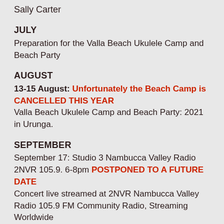Sally Carter
JULY
Preparation for the Valla Beach Ukulele Camp and Beach Party
AUGUST
13-15 August: Unfortunately the Beach Camp is CANCELLED THIS YEAR
Valla Beach Ukulele Camp and Beach Party: 2021 in Urunga.
SEPTEMBER
September 17: Studio 3 Nambucca Valley Radio 2NVR 105.9. 6-8pm POSTPONED TO A FUTURE DATE
Concert live streamed at 2NVR Nambucca Valley Radio 105.9 FM Community Radio, Streaming Worldwide